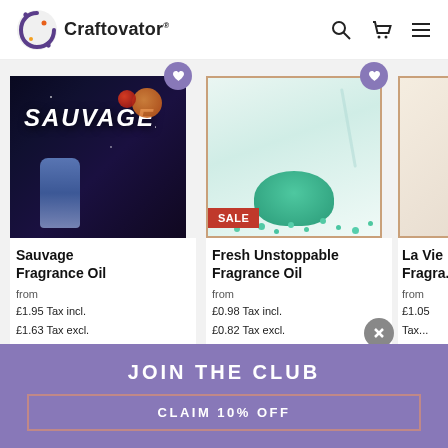Craftovator®
[Figure (photo): Sauvage Fragrance Oil product image with dark blue bottle and moon/galaxy background]
[Figure (photo): Fresh Unstoppable Fragrance Oil product image with green teal beads/pellets in a cup on white background, with SALE badge]
[Figure (photo): La Vie Fragrance partial product image (partially visible)]
Sauvage Fragrance Oil
from
£1.95 Tax incl.
£1.63 Tax excl.
Fresh Unstoppable Fragrance Oil
from
£0.98 Tax incl.
£0.82 Tax excl.
La Vie Fragra...
from
£1.05 Tax...
£1.63 Tax...
JOIN THE CLUB
CLAIM 10% OFF